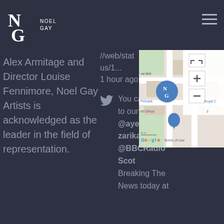Noel Gay Artists
Alex Armitage and Director Louise Fennimore, Noel Gay Artists is acknowledged as the leader in the field of representation.
//web/status/1... 1 hour ago
You can listen to our @ayeshahazarika on @BBCRadio Scot Breaking The News today at
[Figure (map): Google Maps showing area near Oxford Circus, London, with Noel Gay Artists marker, Primark, Royal C visible, with zoom controls and fullscreen button.]